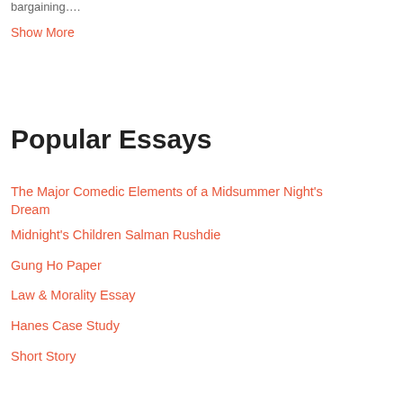bargaining….
Show More
Popular Essays
The Major Comedic Elements of a Midsummer Night's Dream
Midnight's Children Salman Rushdie
Gung Ho Paper
Law & Morality Essay
Hanes Case Study
Short Story